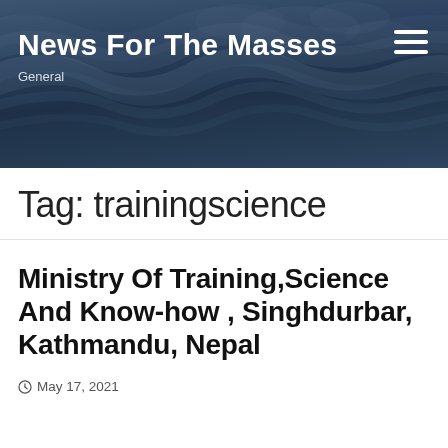News For The Masses
General
Tag: trainingscience
Ministry Of Training,Science And Know-how , Singhdurbar, Kathmandu, Nepal
May 17, 2021